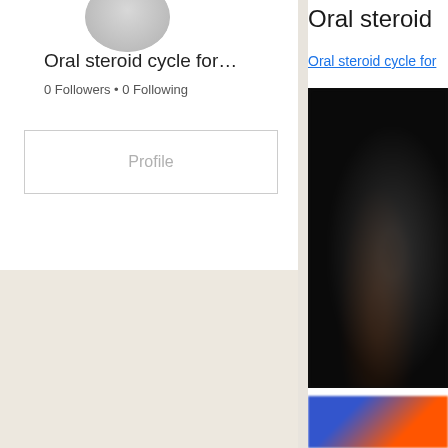[Figure (photo): Circular avatar/profile picture placeholder in gray, partially cropped at top]
Oral steroid cycle for…
0 Followers • 0 Following
Profile
[Figure (screenshot): Right panel showing partial page with title 'Oral steroid' and a blurred dark image below]
Oral steroid cycle for…
Oral steroid cycle for